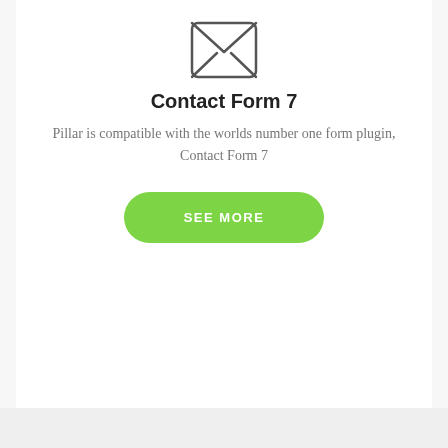[Figure (illustration): Envelope icon with X pattern, rounded rectangle border, dark gray stroke on white background]
Contact Form 7
Pillar is compatible with the worlds number one form plugin, Contact Form 7
SEE MORE